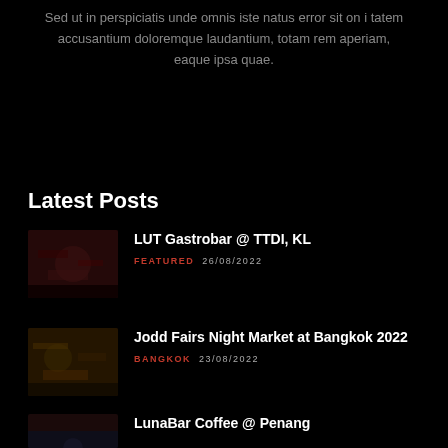Sed ut in perspiciatis unde omnis iste natus error sit on i tatem accusantium doloremque laudantium, totam rem aperiam, eaque ipsa quae.
Latest Posts
LUT Gastrobar @ TTDI, KL
FEATURED   26/08/2022
Jodd Fairs Night Market at Bangkok 2022
BANGKOK   23/08/2022
LunaBar Coffee @ Penang